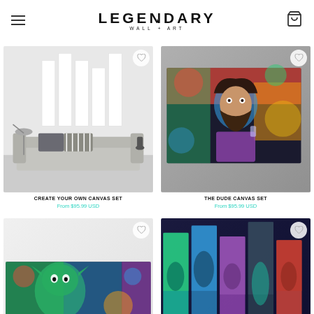LEGENDARY WALL + ART
[Figure (photo): White blank canvas panels arranged on a wall above a grey sofa in a living room setting]
CREATE YOUR OWN CANVAS SET
From $95.99 USD
[Figure (photo): Colorful pop-art canvas print of The Dude character displayed on a concrete wall]
THE DUDE CANVAS SET
From $95.99 USD
[Figure (photo): Colorful art canvas print partially visible at bottom left]
[Figure (photo): Multiple colorful canvas panels with vibrant blue and purple tones arranged on a display]